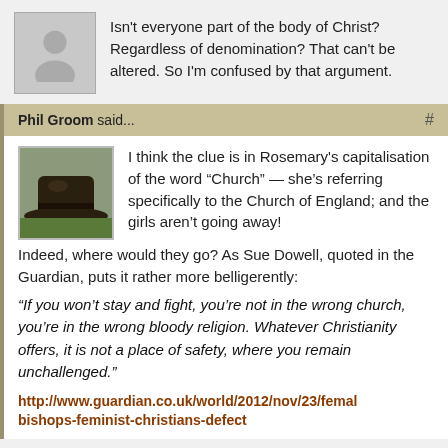Isn't everyone part of the body of Christ? Regardless of denomination? That can't be altered. So I'm confused by that argument.
Phil Groom said...
I think the clue is in Rosemary's capitalisation of the word “Church” — she’s referring specifically to the Church of England; and the girls aren’t going away! Indeed, where would they go? As Sue Dowell, quoted in the Guardian, puts it rather more belligerently:
“If you won’t stay and fight, you’re not in the wrong church, you’re in the wrong bloody religion. Whatever Christianity offers, it is not a place of safety, where you remain unchallenged.”
http://www.guardian.co.uk/world/2012/nov/23/female-bishops-feminist-christians-defect